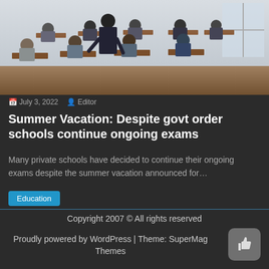[Figure (photo): Classroom scene with students sitting at wooden desks writing exams; a teacher in a dark suit stands in the aisle overseeing; natural light from window at right; black and white/muted tones.]
July 3, 2022  Editor
Summer Vacation: Despite govt order schools continue ongoing exams
Many private schools have decided to continue their ongoing exams despite the summer vacation announced for…
Education
Copyright 2007 © All rights reserved
Proudly powered by WordPress | Theme: SuperMag by Themes